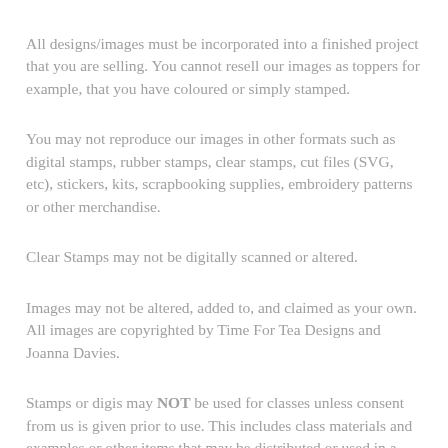All designs/images must be incorporated into a finished project that you are selling. You cannot resell our images as toppers for example, that you have coloured or simply stamped.
You may not reproduce our images in other formats such as digital stamps, rubber stamps, clear stamps, cut files (SVG, etc), stickers, kits, scrapbooking supplies, embroidery patterns or other merchandise.
Clear Stamps may not be digitally scanned or altered.
Images may not be altered, added to, and claimed as your own. All images are copyrighted by Time For Tea Designs and Joanna Davies.
Stamps or digis may NOT be used for classes unless consent from us is given prior to use. This includes class materials and examples or other items that may be distributed or used in a class setting. Right to do so...